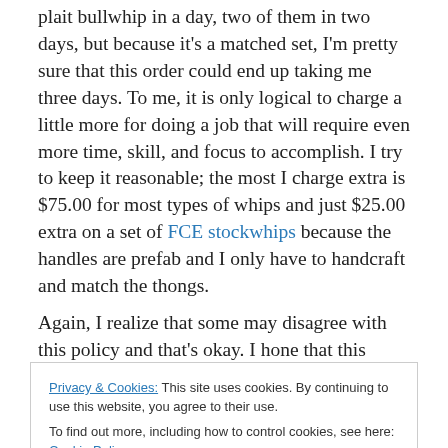plait bullwhip in a day, two of them in two days, but because it's a matched set, I'm pretty sure that this order could end up taking me three days. To me, it is only logical to charge a little more for doing a job that will require even more time, skill, and focus to accomplish. I try to keep it reasonable; the most I charge extra is $75.00 for most types of whips and just $25.00 extra on a set of FCE stockwhips because the handles are prefab and I only have to handcraft and match the thongs.
Again, I realize that some may disagree with this policy and that's okay. I hone that this article will give folks some
Privacy & Cookies: This site uses cookies. By continuing to use this website, you agree to their use. To find out more, including how to control cookies, see here: Cookie Policy